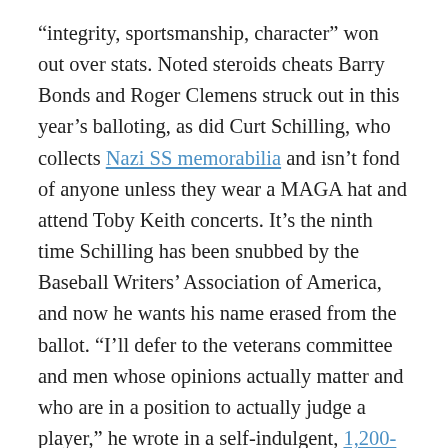“integrity, sportsmanship, character” won out over stats. Noted steroids cheats Barry Bonds and Roger Clemens struck out in this year’s balloting, as did Curt Schilling, who collects Nazi SS memorabilia and isn’t fond of anyone unless they wear a MAGA hat and attend Toby Keith concerts. It’s the ninth time Schilling has been snubbed by the Baseball Writers’ Association of America, and now he wants his name erased from the ballot. “I’ll defer to the veterans committee and men whose opinions actually matter and who are in a position to actually judge a player,” he wrote in a self-indulgent, 1,200-word whinge on Facebook. He also labeled Boston Globe columnist Dan Shaughnessy a “morally decrepit” man, and accused scribes of lining up to “destroy my character.” I don’t know about that. Seems to me Schilling has assassinated